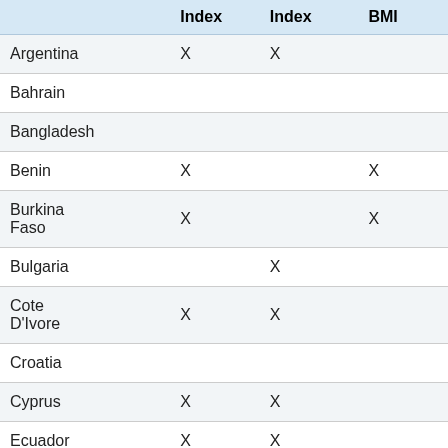|  | Index | Index | BMI |
| --- | --- | --- | --- |
| Argentina | X | X |  |
| Bahrain |  |  |  |
| Bangladesh |  |  |  |
| Benin | X |  | X |
| Burkina Faso | X |  | X |
| Bulgaria |  | X |  |
| Cote D'Ivore | X | X |  |
| Croatia |  |  |  |
| Cyprus | X | X |  |
| Ecuador | X | X |  |